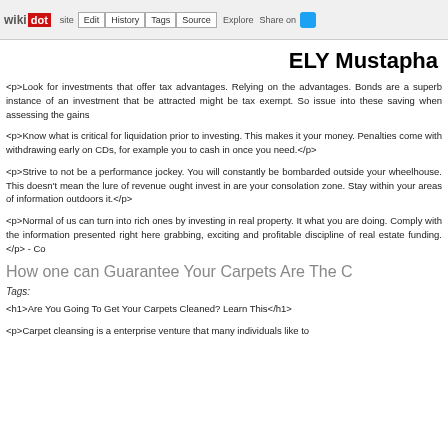wikidot | site | Edit | History | Tags | Source | Explore | Share on [Twitter]
ELY Mustapha
<p>Look for investments that offer tax advantages. Relying on the advantages. Bonds are a superb instance of an investment that be attracted might be tax exempt. So issue into these saving when assessing the gains
<p>Know what is critical for liquidation prior to investing. This makes it your money. Penalties come with withdrawing early on CDs, for example you to cash in once you need.</p>
<p>Strive to not be a performance jockey. You will constantly be bombarded outside your wheelhouse. This doesn't mean the lure of revenue ought invest in are your consolation zone. Stay within your areas of information outdoors it.</p>
<p>Normal of us can turn into rich ones by investing in real property. It what you are doing. Comply with the information presented right here grabbing, exciting and profitable discipline of real estate funding.</p> - Co
How one can Guarantee Your Carpets Are The C
Tags:
<h1>Are You Going To Get Your Carpets Cleaned? Learn This</h1>
<p>Carpet cleansing is a enterprise venture that many individuals like to